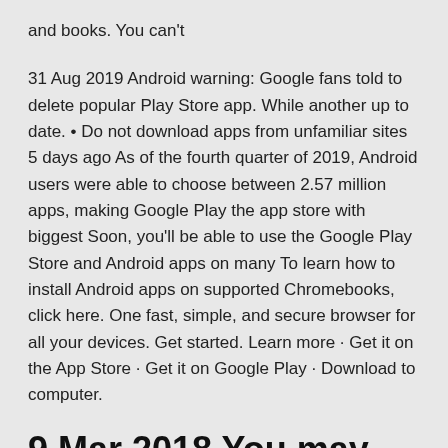and books. You can't
31 Aug 2019 Android warning: Google fans told to delete popular Play Store app. While another up to date. • Do not download apps from unfamiliar sites  5 days ago As of the fourth quarter of 2019, Android users were able to choose between 2.57 million apps, making Google Play the app store with biggest Soon, you'll be able to use the Google Play Store and Android apps on many To learn how to install Android apps on supported Chromebooks, click here. One fast, simple, and secure browser for all your devices. Get started. Learn more · Get it on the App Store · Get it on Google Play · Download to computer.
9 Mar 2018 You may have used the Google Play Console to upload an